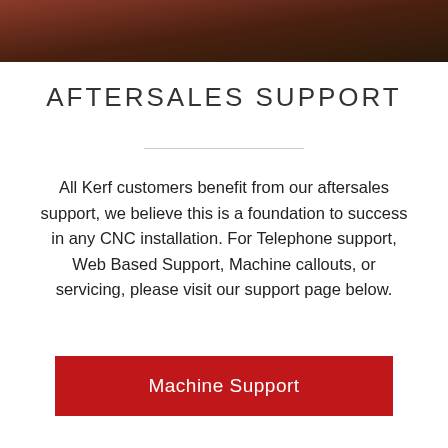[Figure (photo): Dark blurred header image with brown/dark red tones, appears to be a partial photograph used as a decorative banner]
AFTERSALES SUPPORT
All Kerf customers benefit from our aftersales support, we believe this is a foundation to success in any CNC installation. For Telephone support, Web Based Support, Machine callouts, or servicing, please visit our support page below.
Machine Support